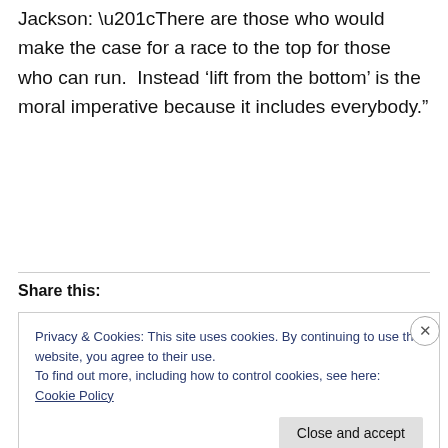Jackson: “There are those who would make the case for a race to the top for those who can run.  Instead ‘lift from the bottom’ is the moral imperative because it includes everybody.”
Share this:
Privacy & Cookies: This site uses cookies. By continuing to use this website, you agree to their use.
To find out more, including how to control cookies, see here: Cookie Policy